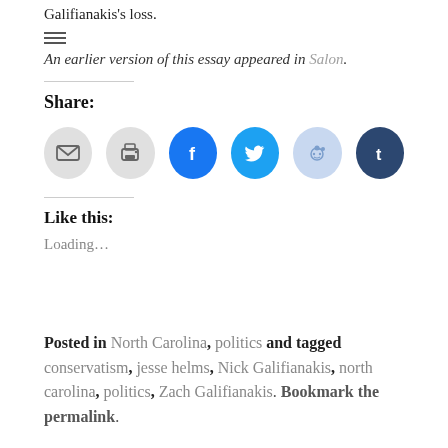Galifianakis’s loss.
An earlier version of this essay appeared in Salon.
Share:
[Figure (other): Social sharing icons: email, print, Facebook, Twitter, Reddit, Tumblr]
Like this:
Loading…
Posted in North Carolina, politics and tagged conservatism, jesse helms, Nick Galifianakis, north carolina, politics, Zach Galifianakis. Bookmark the permalink.